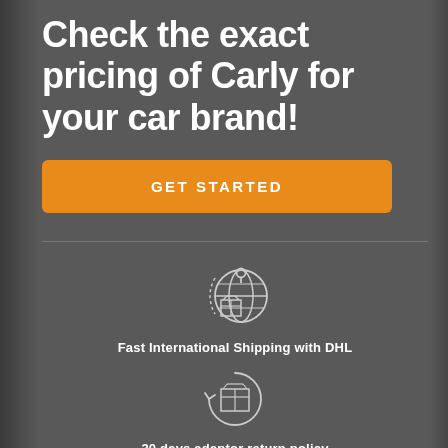Check the exact pricing of Carly for your car brand!
GET STARTED
[Figure (illustration): Icon of a globe with a delivery box and location pin, representing fast international shipping]
Fast International Shipping with DHL
[Figure (illustration): Icon of a box with circular arrows, representing a return policy]
30 days adaptor return policy